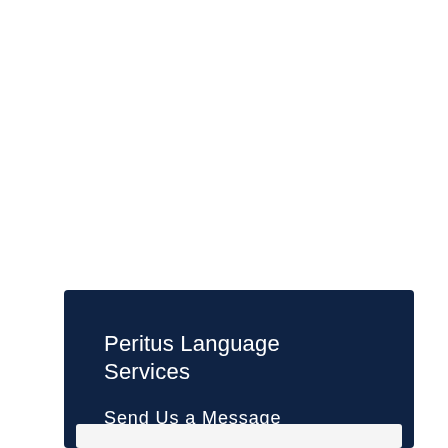Peritus Language Services
Send Us a Message